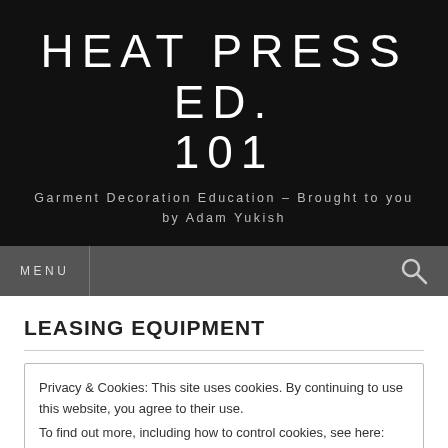HEAT PRESS ED. 101
Garment Decoration Education – Brought to you by Adam Yukish
MENU
LEASING EQUIPMENT
Privacy & Cookies: This site uses cookies. By continuing to use this website, you agree to their use.
To find out more, including how to control cookies, see here: Cookie Policy
Close and accept
When is it a good idea to Lease equipment vs other purchasing